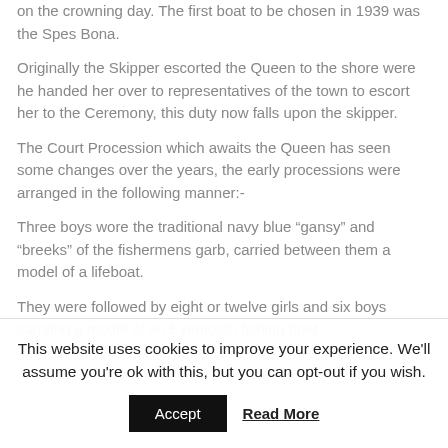on the crowning day. The first boat to be chosen in 1939 was the Spes Bona.
Originally the Skipper escorted the Queen to the shore were he handed her over to representatives of the town to escort her to the Ceremony, this duty now falls upon the skipper.
The Court Procession which awaits the Queen has seen some changes over the years, the early processions were arranged in the following manner:-
Three boys wore the traditional navy blue “gansy” and “breeks” of the fishermens garb, carried between them a model of a lifeboat.
They were followed by eight or twelve girls and six boys carrying a model of an Eyemouth fishing boat
This website uses cookies to improve your experience. We'll assume you're ok with this, but you can opt-out if you wish.